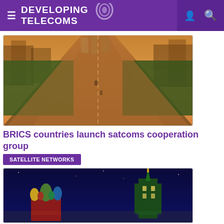DEVELOPING TELECOMS
[Figure (photo): Aerial view of a wide urban boulevard with dense tree-lined avenue and city buildings at dusk/warm light]
BRICS countries launch satcoms cooperation group
SATELLITE NETWORKS
[Figure (photo): Night photo of Moscow Red Square with St. Basil's Cathedral and Spasskaya Tower illuminated against a dark blue sky]